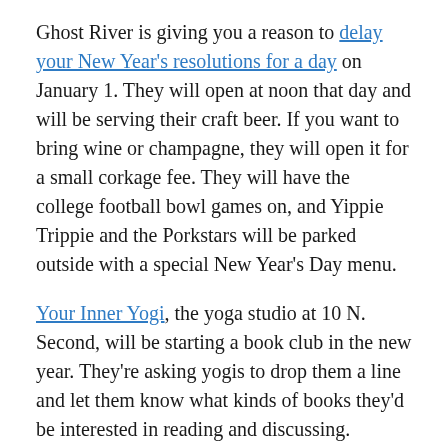Ghost River is giving you a reason to delay your New Year's resolutions for a day on January 1. They will open at noon that day and will be serving their craft beer. If you want to bring wine or champagne, they will open it for a small corkage fee. They will have the college football bowl games on, and Yippie Trippie and the Porkstars will be parked outside with a special New Year's Day menu.
Your Inner Yogi, the yoga studio at 10 N. Second, will be starting a book club in the new year. They're asking yogis to drop them a line and let them know what kinds of books they'd be interested in reading and discussing. BOOKS!